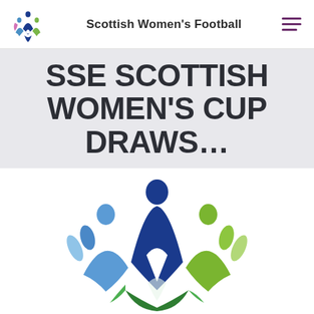Scottish Women's Football
SSE SCOTTISH WOMEN'S CUP DRAWS...
[Figure (logo): Scottish Women's Football logo — stylized figures of people in blue and green arranged in a flower/tulip shape]